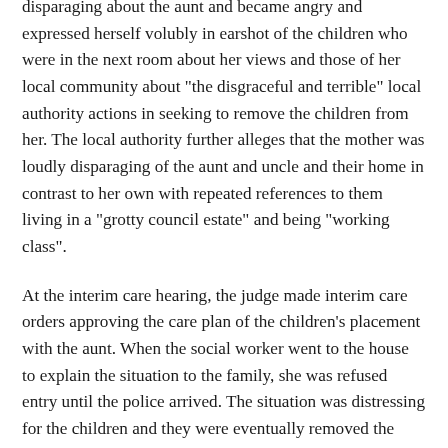disparaging about the aunt and became angry and expressed herself volubly in earshot of the children who were in the next room about her views and those of her local community about "the disgraceful and terrible" local authority actions in seeking to remove the children from her. The local authority further alleges that the mother was loudly disparaging of the aunt and uncle and their home in contrast to her own with repeated references to them living in a "grotty council estate" and being "working class".
At the interim care hearing, the judge made interim care orders approving the care plan of the children's placement with the aunt. When the social worker went to the house to explain the situation to the family, she was refused entry until the police arrived. The situation was distressing for the children and they were eventually removed the following day and taken to the paternal aunt's house where they soon settled.